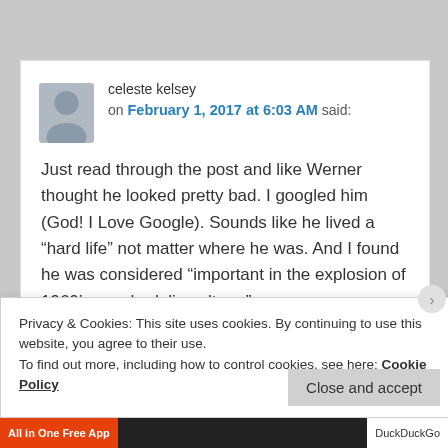celeste kelsey on February 1, 2017 at 6:03 AM said:
Just read through the post and like Werner thought he looked pretty bad. I googled him (God! I Love Google). Sounds like he lived a “hard life” not matter where he was. And I found he was considered “important in the explosion of 1960’s psychedelia culture.”
Privacy & Cookies: This site uses cookies. By continuing to use this website, you agree to their use.
To find out more, including how to control cookies, see here: Cookie Policy